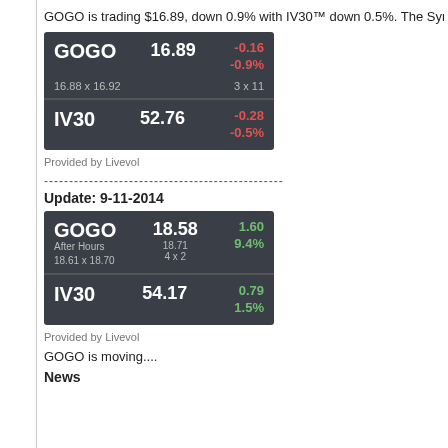GOGO is trading $16.89, down 0.9% with IV30™ down 0.5%. The Symbol Sum
[Figure (infographic): Stock widget showing GOGO trading at 16.89, down -0.16 / -0.9%, bid/ask 16.88 x 16.92, size 3x11; IV30 at 52.76, down -0.28 / -0.5%]
Provided by Livevol
------------------------------------------------
Update: 9-11-2014
[Figure (infographic): Stock widget showing GOGO trading at 18.58, After Hours 18.71, bid/ask 18.61 x 18.70, size 4x2, up 1.60 / 9.4%; IV30 at 54.17, up 0.79 / 1.5%]
Provided by Livevol
GOGO is moving....
News